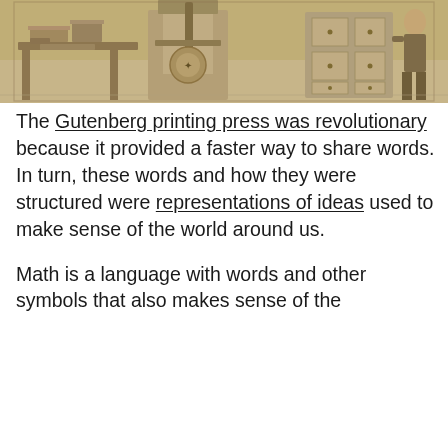[Figure (illustration): Historical engraving of a Gutenberg-era printing press workshop, showing wooden press equipment, trays, and a figure in period clothing]
The Gutenberg printing press was revolutionary because it provided a faster way to share words. In turn, these words and how they were structured were representations of ideas used to make sense of the world around us.
Math is a language with words and other symbols that also makes sense of the